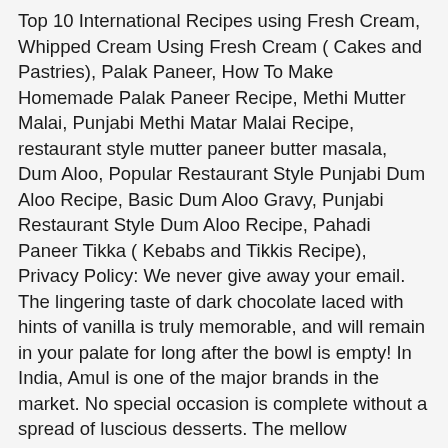Top 10 International Recipes using Fresh Cream, Whipped Cream Using Fresh Cream ( Cakes and Pastries), Palak Paneer, How To Make Homemade Palak Paneer Recipe, Methi Mutter Malai, Punjabi Methi Matar Malai Recipe, restaurant style mutter paneer butter masala, Dum Aloo, Popular Restaurant Style Punjabi Dum Aloo Recipe, Basic Dum Aloo Gravy, Punjabi Restaurant Style Dum Aloo Recipe, Pahadi Paneer Tikka ( Kebabs and Tikkis Recipe), Privacy Policy: We never give away your email. The lingering taste of dark chocolate laced with hints of vanilla is truly memorable, and will remain in your palate for long after the bowl is empty! In India, Amul is one of the major brands in the market. No special occasion is complete without a spread of luscious desserts. The mellow sweetness of bananas and the tacky flavour of butterscotch seem to be a match made in heaven, as you will agree after tasting this unique ice-cream. A common dairy staple throughout Europe, crème fraîche is far more exotic in the United States. deep-fried paneer in tomato-based gravy, you can opt to make this mild or spicy as per your taste. You can add about a tsp of fresh cream once in a while to your meals to enhance the taste. Once you have the cream you